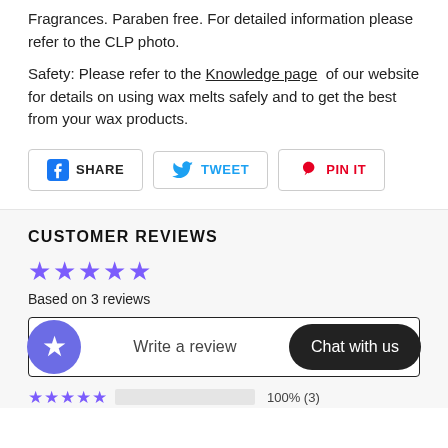Fragrances. Paraben free. For detailed information please refer to the CLP photo.
Safety: Please refer to the Knowledge page of our website for details on using wax melts safely and to get the best from your wax products.
[Figure (other): Social share buttons: Facebook SHARE, Twitter TWEET, Pinterest PIN IT]
CUSTOMER REVIEWS
Based on 3 reviews
[Figure (other): Write a review button with star icon and Chat with us button]
100% (3) — 5 star rating bar